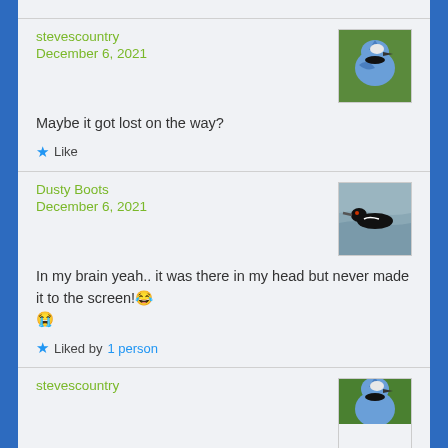stevescountry
December 6, 2021
[Figure (photo): Profile photo of a blue jay bird close-up]
Maybe it got lost on the way?
★ Like
Dusty Boots
December 6, 2021
[Figure (photo): Profile photo of a bird (loon) swimming on water]
In my brain yeah.. it was there in my head but never made it to the screen!😂😭
★ Liked by 1 person
stevescountry